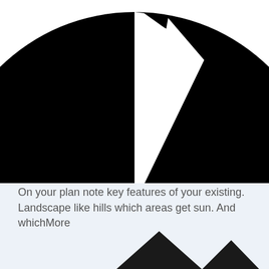[Figure (pie-chart): Large black pie chart, mostly filled with a small white triangular slice cut out near the top-right, cropped at top so only the bottom portion of the circle is visible]
On your plan note key features of your existing. Landscape like hills which areas get sun. And whichMore
[Figure (illustration): Light blue background panel with two black upward-pointing triangle/arrow shapes visible at the bottom, partially cropped]